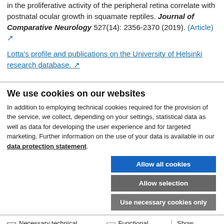in the proliferative activity of the peripheral retina correlate with postnatal ocular growth in squamate reptiles. Journal of Comparative Neurology 527(14): 2356-2370 (2019). (Article) ↗
Lotta's profile and publications on the University of Helsinki research database. ↗
We use cookies on our websites
In addition to employing technical cookies required for the provision of the service, we collect, depending on your settings, statistical data as well as data for developing the user experience and for targeted marketing. Further information on the use of your data is available in our data protection statement.